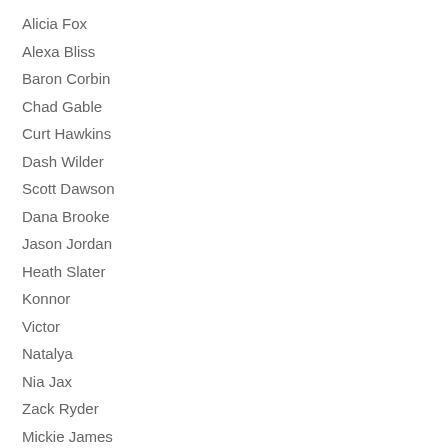Alicia Fox
Alexa Bliss
Baron Corbin
Chad Gable
Curt Hawkins
Dash Wilder
Scott Dawson
Dana Brooke
Jason Jordan
Heath Slater
Konnor
Victor
Natalya
Nia Jax
Zack Ryder
Mickie James
No Way Jose
Mojo Rawley